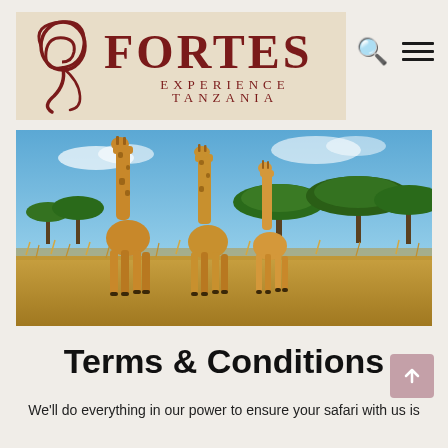[Figure (logo): Fortes Experience Tanzania logo with decorative swirl and dark red text on beige background, with search and hamburger menu icons]
[Figure (photo): Three giraffes standing in a golden savanna with acacia trees and blue sky in the background — a Tanzania safari scene]
Terms & Conditions
We'll do everything in our power to ensure your safari with us is